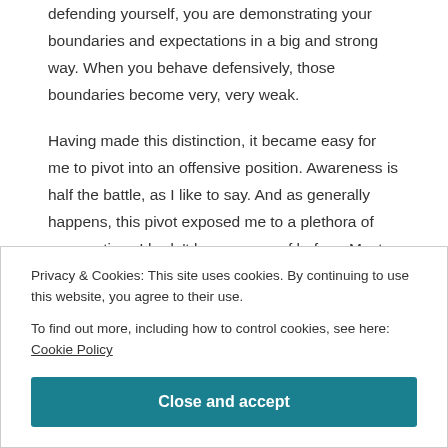defending yourself, you are demonstrating your boundaries and expectations in a big and strong way. When you behave defensively, those boundaries become very, very weak.
Having made this distinction, it became easy for me to pivot into an offensive position. Awareness is half the battle, as I like to say. And as generally happens, this pivot exposed me to a plethora of perspectives I hadn't been aware of before. Most notably—most relevant to me and my life—came this one surprising, yet also
Privacy & Cookies: This site uses cookies. By continuing to use this website, you agree to their use.
To find out more, including how to control cookies, see here: Cookie Policy
Close and accept